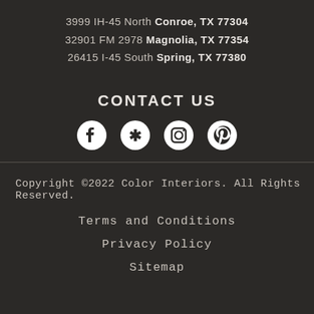3999 IH-45 North Conroe, TX 77304
32901 FM 2978 Magnolia, TX 77354
26415 I-45 South Spring, TX 77380
CONTACT US
[Figure (other): Social media icons: Facebook, Yelp, Instagram, Pinterest]
Copyright ©2022 Color Interiors. All Rights Reserved.
Terms and Conditions
Privacy Policy
Sitemap